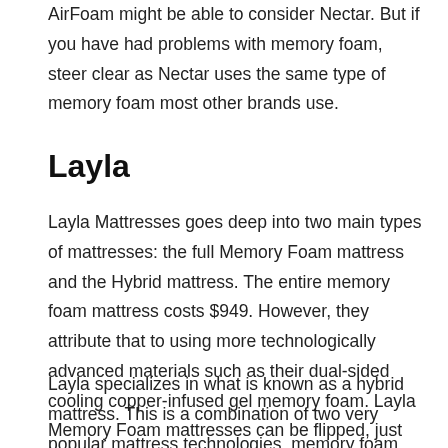AirFoam might be able to consider Nectar. But if you have had problems with memory foam, steer clear as Nectar uses the same type of memory foam most other brands use.
Layla
Layla Mattresses goes deep into two main types of mattresses: the full Memory Foam mattress and the Hybrid mattress. The entire memory foam mattress costs $949. However, they attribute that to using more technologically advanced materials such as their dual-sided cooling copper-infused gel memory foam. Layla Memory Foam mattresses can be flipped, just like the Nolah Signature series. It has a soft, plush feel and a supportive foam.
Layla specializes in what is known as a hybrid mattress. This is a combination of two very popular mattress technologies, memory foam and coil or spring foundations. Although they are older in design technology, coil mattresses offer more support for the back...